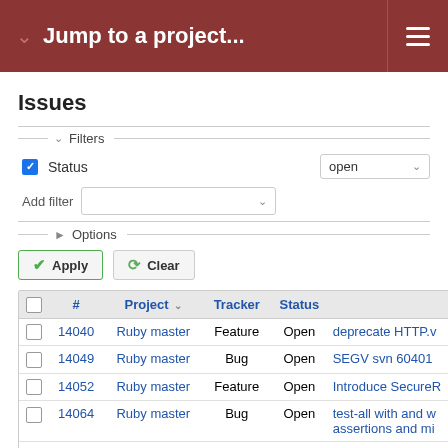Jump to a project...
Issues
Filters
Status  open
Add filter
Options
Apply  Clear
|  | # | Project | Tracker | Status |  |
| --- | --- | --- | --- | --- | --- |
|  | 14040 | Ruby master | Feature | Open | deprecate HTTP.v... |
|  | 14049 | Ruby master | Bug | Open | SEGV svn 60401 |
|  | 14052 | Ruby master | Feature | Open | Introduce SecureR... |
|  | 14064 | Ruby master | Bug | Open | test-all with and w... assertions and mi... |
|  | 14077 | Ruby master | Feature | Open | Add Encoding::FIL... Encoding::LOCAL... |